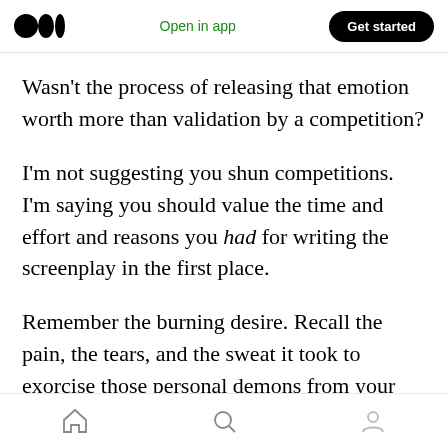Medium logo | Open in app | Get started
Wasn't the process of releasing that emotion worth more than validation by a competition?
I'm not suggesting you shun competitions. I'm saying you should value the time and effort and reasons you had for writing the screenplay in the first place.
Remember the burning desire. Recall the pain, the tears, and the sweat it took to exorcise those personal demons from your soul.
And after you've cleansed it, wake up and move
Home | Search | Profile